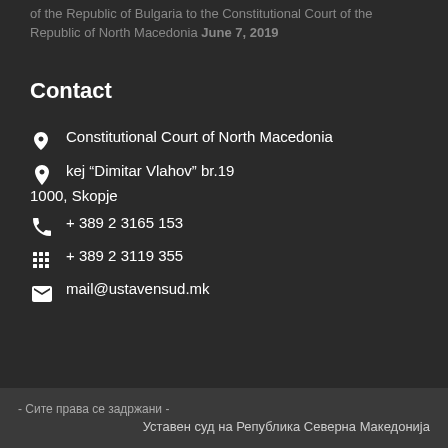of the Republic of Bulgaria to the Constitutional Court of the Republic of North Macedonia June 7, 2019
Contact
Constitutional Court of North Macedonia
kej “Dimitar Vlahov” br.19
1000, Skopje
+ 389 2 3165 153
+ 389 2 3119 355
mail@ustavensud.mk
- Сите права се задржани -
Уставен суд на Република Северна Македонија